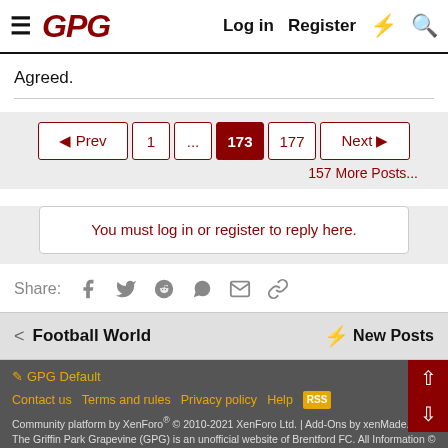GPG  Log in  Register
Agreed.
◄ Prev  1  ...  173  177  Next ►
157 More Posts...
You must log in or register to reply here.
Share:
< Football World  ⚡ New Posts
✏ GPG Default
Contact us  Terms and rules  Privacy policy  Help  RSS
Community platform by XenForo® © 2010-2021 XenForo Ltd. | Add-Ons by xenMade.com
The Griffin Park Grapevine (GPG) is an unofficial website of Brentford FC. All Information © 1997-2022 Griffin Park Grapevine. griffinpark.org is in no way authorised by or connected with Brentford Football Club
XenAtendo 2 PRO © Jason Axelrod of 8WAYRUN